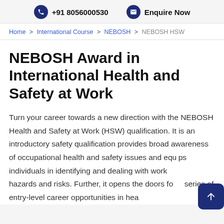+91 8056000530   Enquire Now
Home > International Course > NEBOSH > NEBOSH HSW
NEBOSH Award in International Health and Safety at Work
Turn your career towards a new direction with the NEBOSH Health and Safety at Work (HSW) qualification. It is an introductory safety qualification provides broad awareness of occupational health and safety issues and equips individuals in identifying and dealing with workplace hazards and risks. Further, it opens the doors for a series of entry-level career opportunities in health